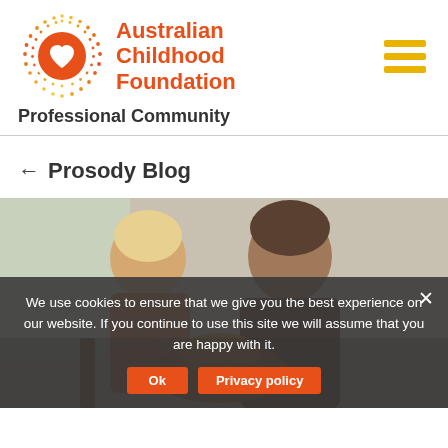[Figure (logo): Australian Childhood Foundation logo — circular dotted/gradient orange circle with white heart center, beside bold orange text 'Australian Childhood Foundation']
Professional Community
← Prosody Blog
[Figure (photo): A man and a young child playing guitar together, viewed from above/side angle, warm natural light]
We use cookies to ensure that we give you the best experience on our website. If you continue to use this site we will assume that you are happy with it.
Ok   Privacy policy